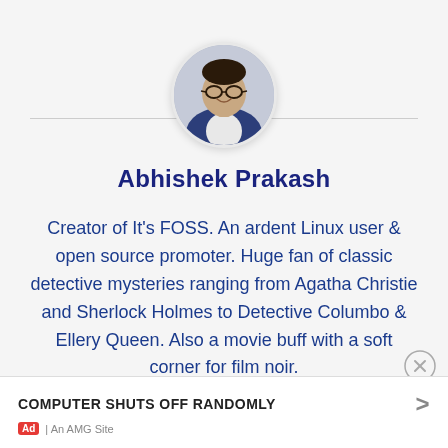[Figure (photo): Circular profile photo of Abhishek Prakash, a young man wearing glasses and a blue jacket, smiling]
Abhishek Prakash
Creator of It's FOSS. An ardent Linux user & open source promoter. Huge fan of classic detective mysteries ranging from Agatha Christie and Sherlock Holmes to Detective Columbo & Ellery Queen. Also a movie buff with a soft corner for film noir.
COMPUTER SHUTS OFF RANDOMLY
Ad | An AMG Site